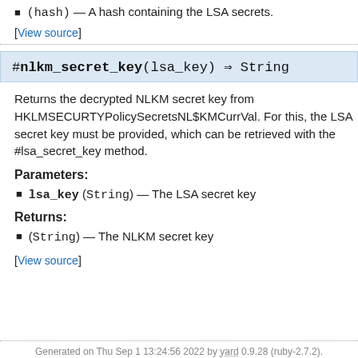(hash) — A hash containing the LSA secrets.
[View source]
#nlkm_secret_key(lsa_key) ⇒ String
Returns the decrypted NLKM secret key from HKLMSECURTYPolicySecretsNL$KMCurrVal. For this, the LSA secret key must be provided, which can be retrieved with the #lsa_secret_key method.
Parameters:
lsa_key (String) — The LSA secret key
Returns:
(String) — The NLKM secret key
[View source]
Generated on Thu Sep 1 13:24:56 2022 by yard 0.9.28 (ruby-2.7.2).